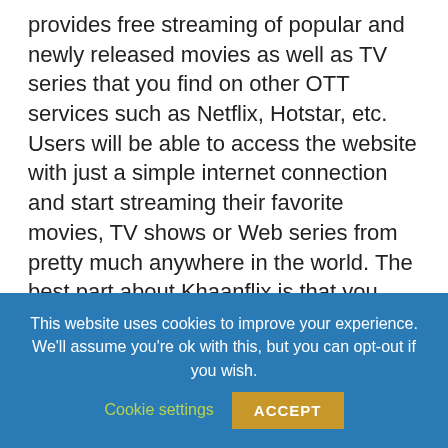provides free streaming of popular and newly released movies as well as TV series that you find on other OTT services such as Netflix, Hotstar, etc. Users will be able to access the website with just a simple internet connection and start streaming their favorite movies, TV shows or Web series from pretty much anywhere in the world. The best part about Khaanflix is that you don't have to worry about registration or charges since it's completely free to use.
This website uses cookies to improve your experience. We'll assume you're ok with this, but you can opt-out if you wish. Cookie settings ACCEPT